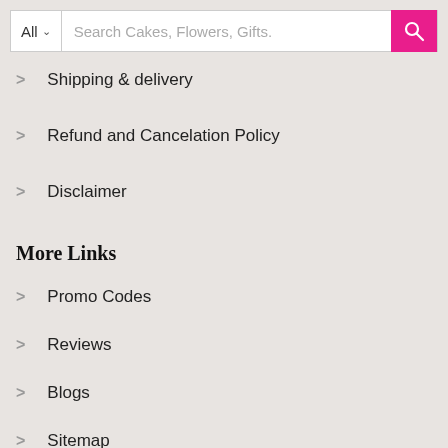All  Search Cakes, Flowers, Gifts.
Shipping & delivery
Refund and Cancelation Policy
Disclaimer
More Links
Promo Codes
Reviews
Blogs
Sitemap